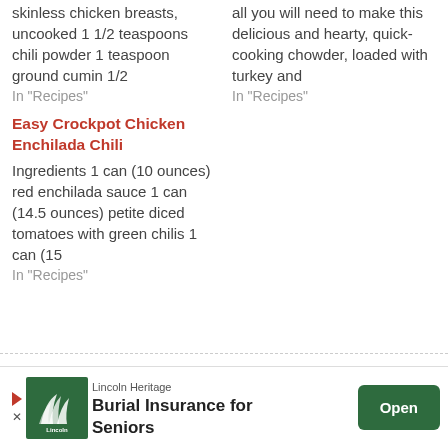skinless chicken breasts, uncooked 1 1/2 teaspoons chili powder 1 teaspoon ground cumin 1/2
In "Recipes"
all you will need to make this delicious and hearty, quick-cooking chowder, loaded with turkey and
In "Recipes"
Easy Crockpot Chicken Enchilada Chili
Ingredients 1 can (10 ounces) red enchilada sauce 1 can (14.5 ounces) petite diced tomatoes with green chilis 1 can (15
In "Recipes"
Click Here(2X) Tö
Clöse
[Figure (infographic): Lincoln Heritage Burial Insurance for Seniors advertisement banner with logo, company name, headline text, and an Open button]